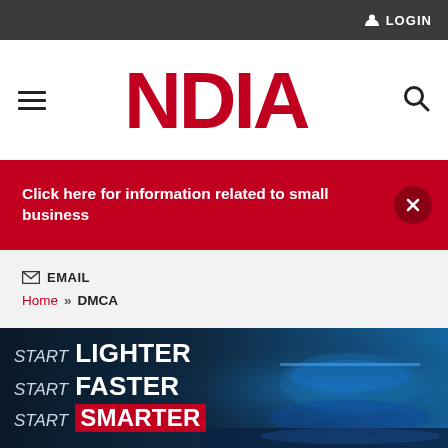LOGIN
[Figure (logo): NDIA logo in red bold letters with hamburger menu icon on left and search icon on right]
Click here for information related to small business
EMAIL
Home » DMCA
[Figure (photo): Advertisement banner: START LIGHTER / START FASTER / START SMARTER with helicopter image on dark blue background]